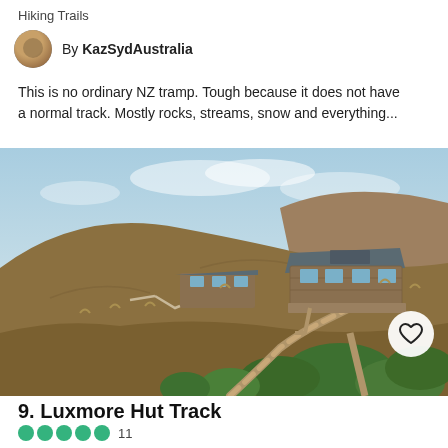Hiking Trails
By KazSydAustralia
This is no ordinary NZ tramp. Tough because it does not have a normal track. Mostly rocks, streams, snow and everything...
[Figure (photo): Photo of Luxmore Hut building set on a hillside with wooden boardwalk, tussock grassland and mountains in background under cloudy sky]
9. Luxmore Hut Track
11
Hiking Trails